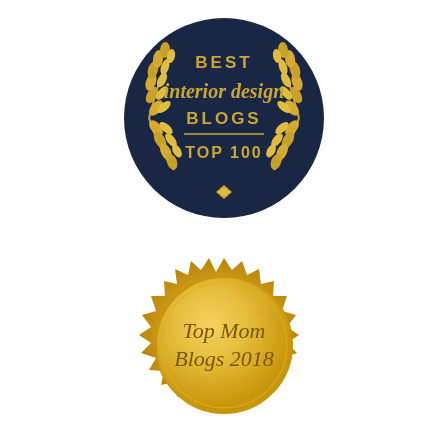[Figure (illustration): Dark navy blue circular badge with gold laurel wreaths on both sides. Text reads: BEST interior design BLOGS TOP 100]
[Figure (illustration): Gold seal/award badge with serrated edges. Text reads: Top Mom Blogs 2018]